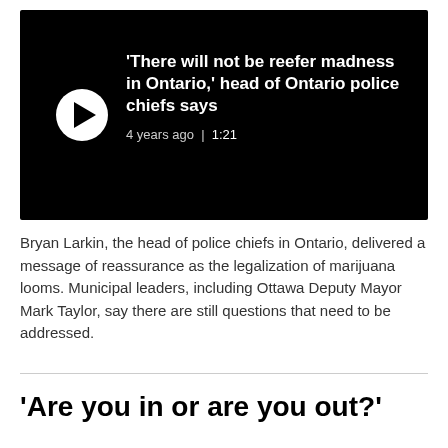[Figure (screenshot): Video thumbnail with black background showing a play button (white circle with black triangle) and text: 'There will not be reefer madness in Ontario,' head of Ontario police chiefs says. 4 years ago | 1:21]
Bryan Larkin, the head of police chiefs in Ontario, delivered a message of reassurance as the legalization of marijuana looms. Municipal leaders, including Ottawa Deputy Mayor Mark Taylor, say there are still questions that need to be addressed.
'Are you in or are you out?'